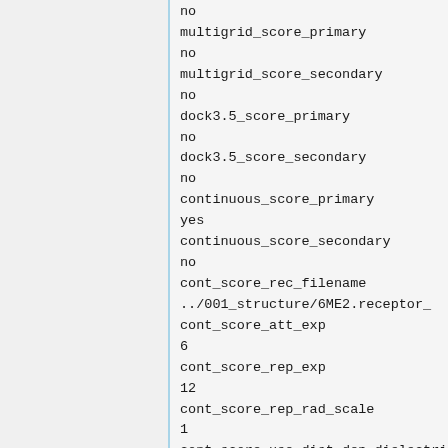no
multigrid_score_primary
no
multigrid_score_secondary
no
dock3.5_score_primary
no
dock3.5_score_secondary
no
continuous_score_primary
yes
continuous_score_secondary
no
cont_score_rec_filename
../001_structure/6ME2.receptor_
cont_score_att_exp
6
cont_score_rep_exp
12
cont_score_rep_rad_scale
1
cont_score_use_dist_dep_dielectric
yes
cont_score_dielectric
4.0